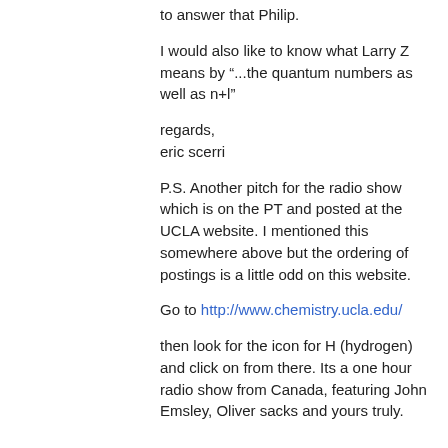to answer that Philip.
I would also like to know what Larry Z means by “...the quantum numbers as well as n+l”
regards,
eric scerri
P.S. Another pitch for the radio show which is on the PT and posted at the UCLA website. I mentioned this somewhere above but the ordering of postings is a little odd on this website.
Go to http://www.chemistry.ucla.edu/
then look for the icon for H (hydrogen) and click on from there. Its a one hour radio show from Canada, featuring John Emsley, Oliver sacks and yours truly.